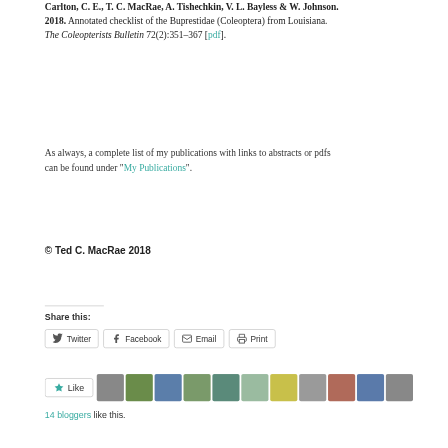Carlton, C. E., T. C. MacRae, A. Tishechkin, V. L. Bayless & W. Johnson. 2018. Annotated checklist of the Buprestidae (Coleoptera) from Louisiana. The Coleopterists Bulletin 72(2):351–367 [pdf].
As always, a complete list of my publications with links to abstracts or pdfs can be found under "My Publications".
© Ted C. MacRae 2018
Share this:
14 bloggers like this.